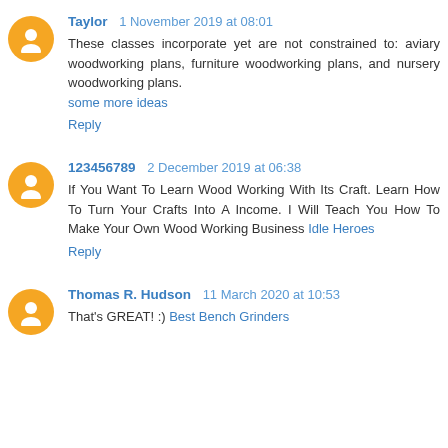Taylor  1 November 2019 at 08:01
These classes incorporate yet are not constrained to: aviary woodworking plans, furniture woodworking plans, and nursery woodworking plans.
some more ideas
Reply
123456789  2 December 2019 at 06:38
If You Want To Learn Wood Working With Its Craft. Learn How To Turn Your Crafts Into A Income. I Will Teach You How To Make Your Own Wood Working Business Idle Heroes
Reply
Thomas R. Hudson  11 March 2020 at 10:53
That's GREAT! :) Best Bench Grinders